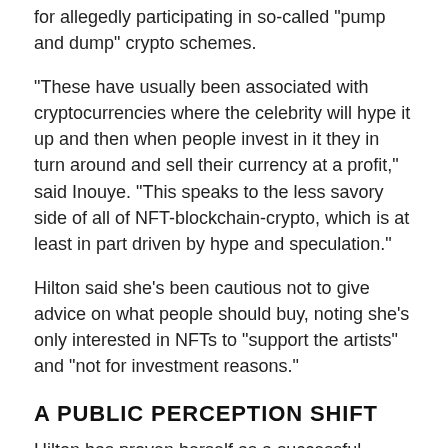for allegedly participating in so-called "pump and dump" crypto schemes.
"These have usually been associated with cryptocurrencies where the celebrity will hype it up and then when people invest in it they in turn around and sell their currency at a profit," said Inouye. "This speaks to the less savory side of all of NFT-blockchain-crypto, which is at least in part driven by hype and speculation."
Hilton said she's been cautious not to give advice on what people should buy, noting she's only interested in NFTs to "support the artists" and "not for investment reasons."
A PUBLIC PERCEPTION SHIFT
Hilton has proven herself as a successful